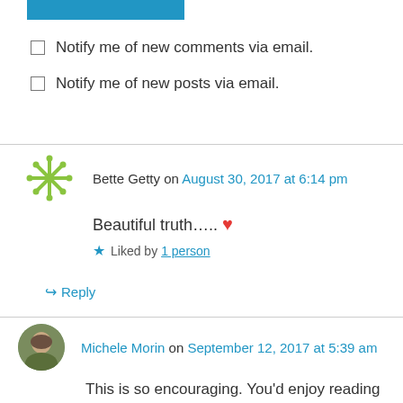[Figure (other): Blue button/bar at top]
Notify me of new comments via email.
Notify me of new posts via email.
Bette Getty on August 30, 2017 at 6:14 pm
Beautiful truth….. ❤
Liked by 1 person
↪ Reply
Michele Morin on September 12, 2017 at 5:39 am
This is so encouraging. You'd enjoy reading Unseen by Sara Hegarty.